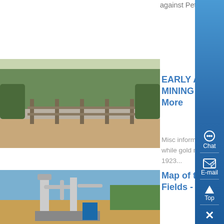against Pete, who wants to ....
EARLY ALASKA GOLD MINING FATALITIES - Know More
[Figure (photo): Outdoor field scene with wooden fence posts and trees in background, likely a mining site in Alaska]
Misc information about those who died while gold mining in Alaska 1913-1923...
Map of the Alaskan Gold Fields - Know More
[Figure (photo): Industrial gold mining equipment and machinery on a construction site with blue sky background]
eginning in the mid-19th century, gold was discovered in a succession of strikes along the western coast of the United States in an ascending arc from California to Alaska The great California Gold Rush of 1849 was followed by many other rushes in succeeding decades, culminating in the Klondike Gold Rush of 1897 and the Nome